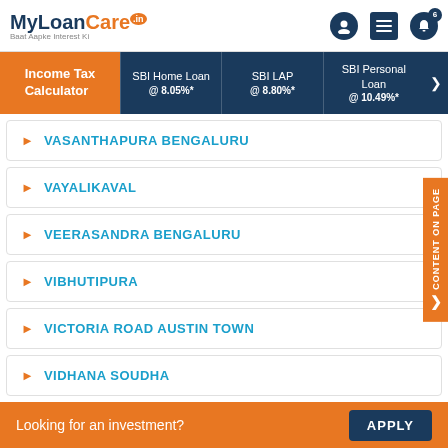[Figure (logo): MyLoanCare.in logo with tagline Baat Aapke Interest Ki]
Income Tax Calculator | SBI Home Loan @ 8.05%* | SBI LAP @ 8.80%* | SBI Personal Loan @ 10.49%*
VASANTHAPURA BENGALURU
VAYALIKAVAL
VEERASANDRA BENGALURU
VIBHUTIPURA
VICTORIA ROAD AUSTIN TOWN
VIDHANA SOUDHA
VIDYARANYAPURA
Looking for an investment? APPLY